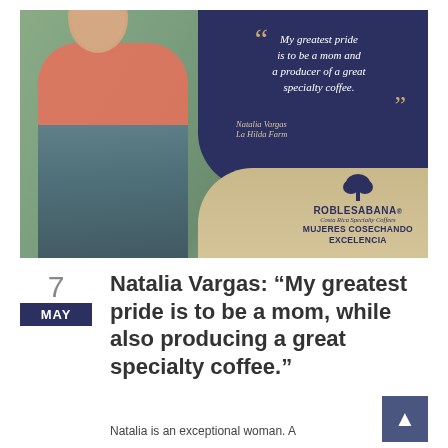[Figure (photo): Promotional photo banner for Roble Sabana coffee. Shows a woman in a red tank top standing in a greenhouse/farm setting with lush green plants. On the right side is a dark navy blue overlay with a quote in white text: "My greatest pride is to be a mom and a producer of a great specialty coffee." attributed to Natalia Vargas, La Hilda Farm. The Roble Sabana logo appears at the bottom right with text 'Costa Rica Specialty Coffees' and 'MUJERES COSECHANDO EXCELENCIA'.]
7
MAY
Natalia Vargas: “My greatest pride is to be a mom, while also producing a great specialty coffee.”
Natalia is an exceptional woman. A